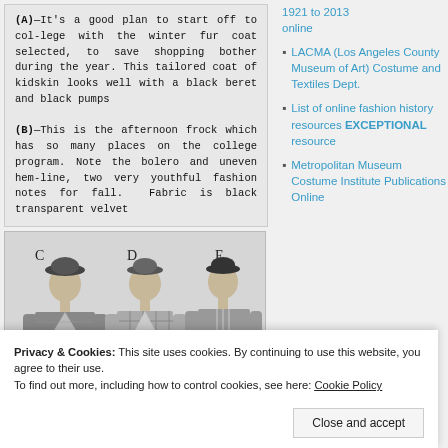(A)—It's a good plan to start off to college with the winter fur coat selected, to save shopping bother during the year. This tailored coat of kidskin looks well with a black beret and black pumps
(B)—This is the afternoon frock which has so many places on the college program. Note the bolero and uneven hem-line, two very youthful fashion notes for fall. Fabric is black transparent velvet
[Figure (illustration): Vintage fashion illustration showing three women labeled C, D, and E wearing 1930s-style outfits including jackets and hats]
1921 to 2013 online
LACMA (Los Angeles County Museum of Art) Costume and Textiles Dept.
List of online fashion history resources EXCEPTIONAL resource
Metropolitan Museum Costume Institute Publications Online
Privacy & Cookies: This site uses cookies. By continuing to use this website, you agree to their use.
To find out more, including how to control cookies, see here: Cookie Policy
Close and accept